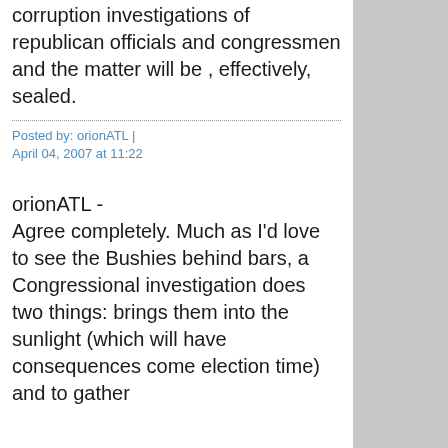corruption investigations of republican officials and congressmen and the matter will be , effectively, sealed.
Posted by: orionATL | April 04, 2007 at 11:22
orionATL - Agree completely. Much as I'd love to see the Bushies behind bars, a Congressional investigation does two things: brings them into the sunlight (which will have consequences come election time) and to gather...